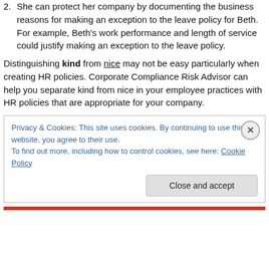2. She can protect her company by documenting the business reasons for making an exception to the leave policy for Beth. For example, Beth's work performance and length of service could justify making an exception to the leave policy.
Distinguishing kind from nice may not be easy particularly when creating HR policies. Corporate Compliance Risk Advisor can help you separate kind from nice in your employee practices with HR policies that are appropriate for your company.
Privacy & Cookies: This site uses cookies. By continuing to use this website, you agree to their use. To find out more, including how to control cookies, see here: Cookie Policy
Close and accept